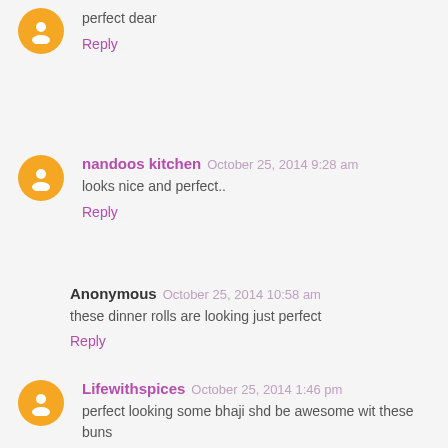perfect dear
Reply
nandoos kitchen October 25, 2014 9:28 am
looks nice and perfect..
Reply
Anonymous October 25, 2014 10:58 am
these dinner rolls are looking just perfect
Reply
Lifewithspices October 25, 2014 1:46 pm
perfect looking some bhaji shd be awesome wit these buns
Reply